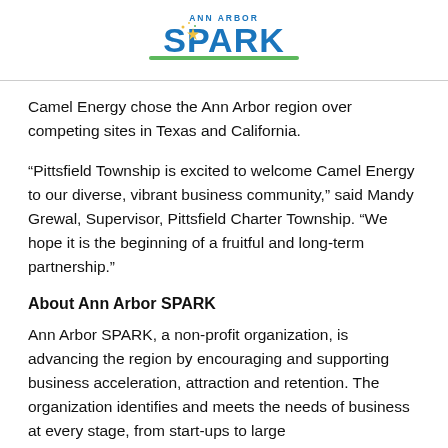[Figure (logo): Ann Arbor SPARK logo with blue text and a green/yellow sunburst star graphic]
Camel Energy chose the Ann Arbor region over competing sites in Texas and California.
“Pittsfield Township is excited to welcome Camel Energy to our diverse, vibrant business community,” said Mandy Grewal, Supervisor, Pittsfield Charter Township. “We hope it is the beginning of a fruitful and long-term partnership.”
About Ann Arbor SPARK
Ann Arbor SPARK, a non-profit organization, is advancing the region by encouraging and supporting business acceleration, attraction and retention. The organization identifies and meets the needs of business at every stage, from start-ups to large